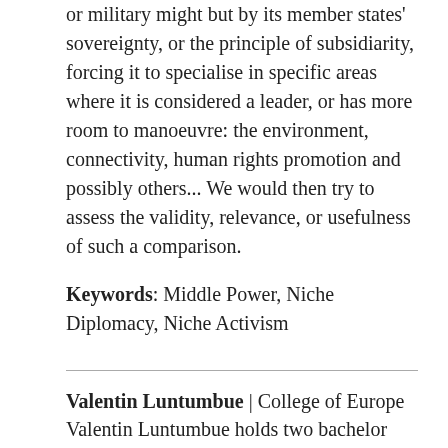or military might but by its member states' sovereignty, or the principle of subsidiarity, forcing it to specialise in specific areas where it is considered a leader, or has more room to manoeuvre: the environment, connectivity, human rights promotion and possibly others... We would then try to assess the validity, relevance, or usefulness of such a comparison.
Keywords: Middle Power, Niche Diplomacy, Niche Activism
Valentin Luntumbue | College of Europe
Valentin Luntumbue holds two bachelor degrees in History and Sociology, Anthropology from